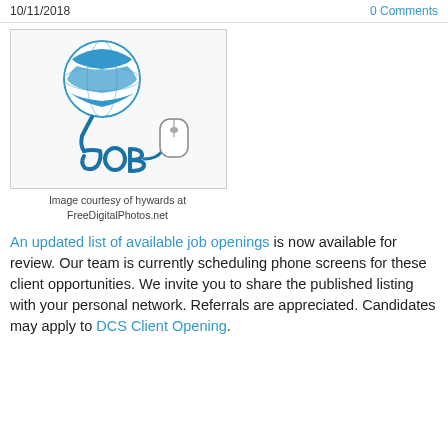10/11/2018    0 Comments
[Figure (illustration): A blue and white globe connected by a cord shaped like the word 'JOB' to a computer mouse, illustrating online job searching.]
Image courtesy of hywards at FreeDigitalPhotos.net
An updated list of available job openings is now available for review. Our team is currently scheduling phone screens for these client opportunities. We invite you to share the published listing with your personal network. Referrals are appreciated. Candidates may apply to DCS Client Opening.